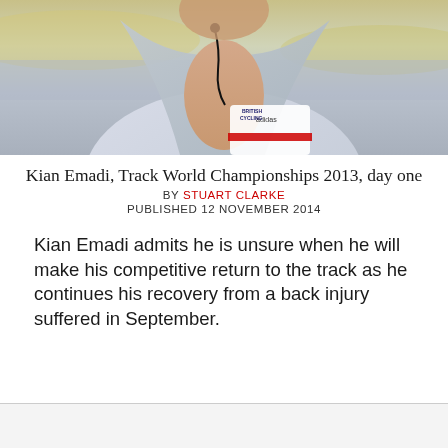[Figure (photo): Close-up photo of Kian Emadi wearing a British Cycling kit and a towel around his neck, with an earpiece, at the Track World Championships 2013]
Kian Emadi, Track World Championships 2013, day one
BY STUART CLARKE
PUBLISHED 12 NOVEMBER 2014
Kian Emadi admits he is unsure when he will make his competitive return to the track as he continues his recovery from a back injury suffered in September.